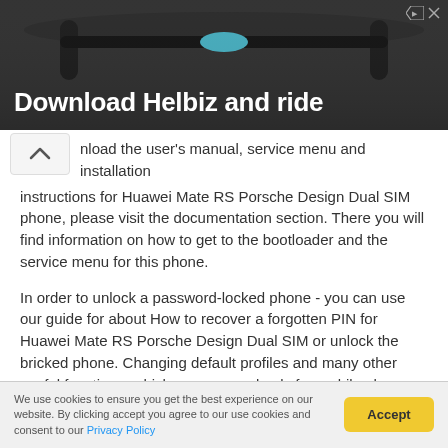[Figure (photo): Advertisement banner with dark background showing bicycle handlebars and text 'Download Helbiz and ride']
nload the user's manual, service menu and installation instructions for Huawei Mate RS Porsche Design Dual SIM phone, please visit the documentation section. There you will find information on how to get to the bootloader and the service menu for this phone.
In order to unlock a password-locked phone - you can use our guide for about How to recover a forgotten PIN for Huawei Mate RS Porsche Design Dual SIM or unlock the bricked phone. Changing default profiles and many other useful functions, which are reserved only for mobile phone services - you can find them in the Documentation section.
Before you buy Huawei Mate RS
We use cookies to ensure you get the best experience on our website. By clicking accept you agree to our use cookies and consent to our Privacy Policy